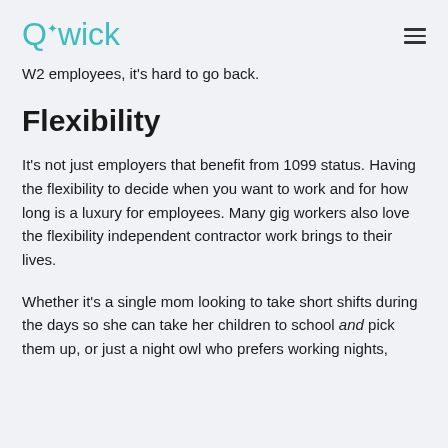Qwick
W2 employees, it's hard to go back.
Flexibility
It's not just employers that benefit from 1099 status. Having the flexibility to decide when you want to work and for how long is a luxury for employees. Many gig workers also love the flexibility independent contractor work brings to their lives.
Whether it's a single mom looking to take short shifts during the days so she can take her children to school and pick them up, or just a night owl who prefers working nights,